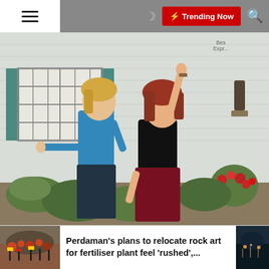Trending Now
[Figure (photo): Two women posing outdoors in front of a white house with teal shutters. The woman on the left wears a blue long-sleeve top and dark jeans, pointing sideways. The woman on the right wears a black top and dark red leather skirt, pointing upward with one hand raised. Garden plants and red flowers are visible in the background.]
Perdaman's plans to relocate rock art for fertiliser plant feel 'rushed',...